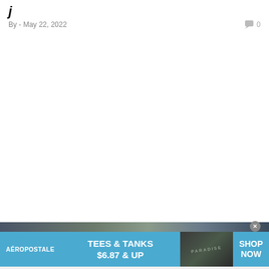By - May 22, 2022   💬 0
[Figure (photo): Partial view of a person outdoors, used as article image, partially visible at bottom of page]
[Figure (infographic): Aeropostale advertisement banner with blue background: TEES & TANKS $6.87 & UP, with SHOP NOW call to action and close button]